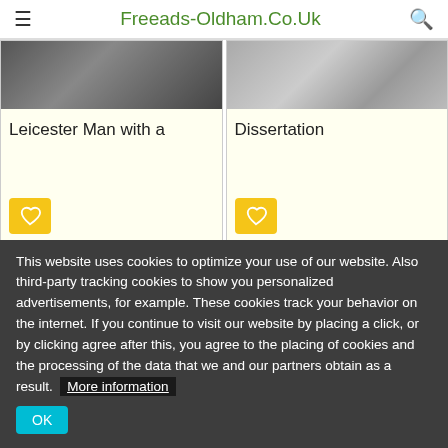Freeads-Oldham.Co.Uk
[Figure (photo): Two card listings: left card shows a warehouse/industrial scene photo, right card shows a person working at a laptop photo]
Leicester Man with a
Dissertation
This website uses cookies to optimize your use of our website. Also third-party tracking cookies to show you personalized advertisements, for example. These cookies track your behavior on the internet. If you continue to visit our website by placing a click, or by clicking agree after this, you agree to the placing of cookies and the processing of the data that we and our partners obtain as a result.  More information
OK